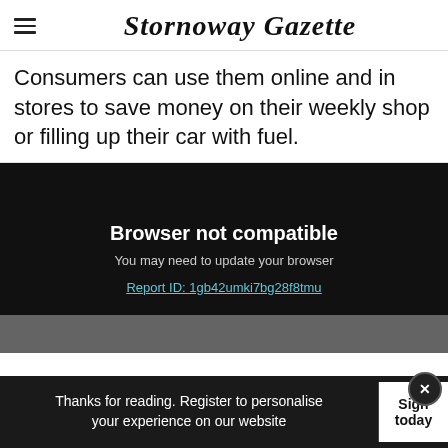Stornoway Gazette
Consumers can use them online and in stores to save money on their weekly shop or filling up their car with fuel.
[Figure (screenshot): Dark video player area showing 'Browser not compatible' error message with text 'You may need to update your browser' and a report ID link 'Report ID: 1gb42umki7bg28f8tmu']
Thanks for reading. Register to personalise your experience on our website